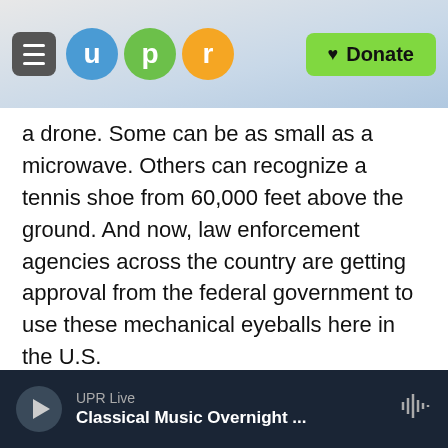[Figure (screenshot): UPR website header with hamburger menu icon, UPR logo circles (u, p, r) and green Donate button]
a drone. Some can be as small as a microwave. Others can recognize a tennis shoe from 60,000 feet above the ground. And now, law enforcement agencies across the country are getting approval from the federal government to use these mechanical eyeballs here in the U.S.
Drones are still relatively unregulated, and many critics worry about safety and privacy infringements. Just yesterday, a pilot near JFK Airport, in New York, told air traffic control that he spotted a drone aircraft in the vicinity. The Federal Aviation Administration is investigating the report.
UPR Live
Classical Music Overnight ...